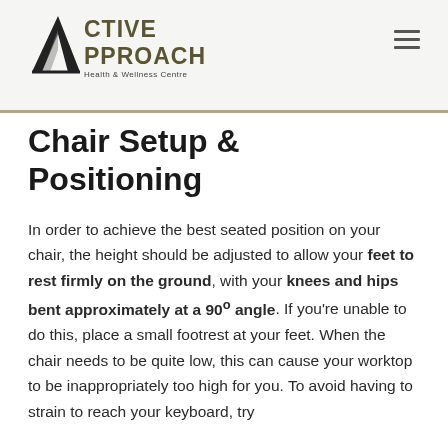Active Approach Health & Wellness Centre
Chair Setup & Positioning
In order to achieve the best seated position on your chair, the height should be adjusted to allow your feet to rest firmly on the ground, with your knees and hips bent approximately at a 90° angle. If you're unable to do this, place a small footrest at your feet. When the chair needs to be quite low, this can cause your worktop to be inappropriately too high for you. To avoid having to strain to reach your keyboard, try